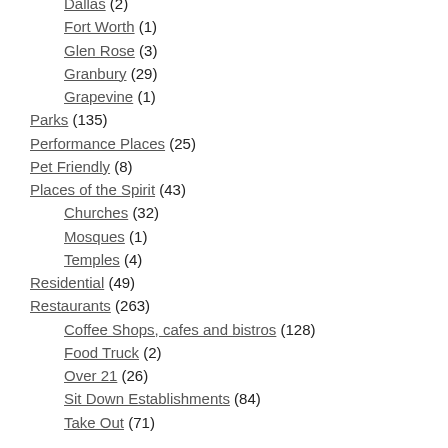Dallas (2)
Fort Worth (1)
Glen Rose (3)
Granbury (29)
Grapevine (1)
Parks (135)
Performance Places (25)
Pet Friendly (8)
Places of the Spirit (43)
Churches (32)
Mosques (1)
Temples (4)
Residential (49)
Restaurants (263)
Coffee Shops, cafes and bistros (128)
Food Truck (2)
Over 21 (26)
Sit Down Establishments (84)
Take Out (71)